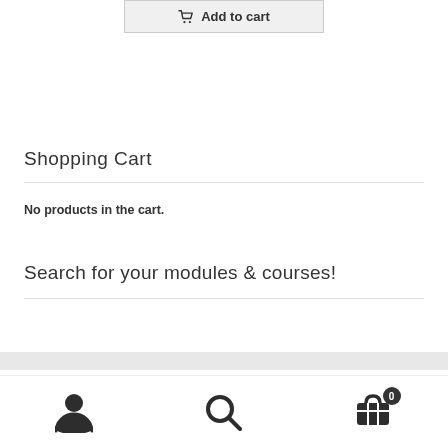[Figure (screenshot): Add to cart button with shopping cart icon]
Shopping Cart
No products in the cart.
Search for your modules & courses!
[Figure (screenshot): Bottom navigation bar with person icon, search icon, and cart icon with badge showing 0]